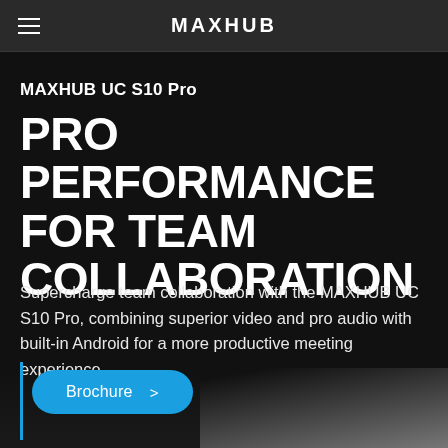MAXHUB
MAXHUB UC S10 Pro
PRO PERFORMANCE FOR TEAM COLLABORATION
Supercharge team collaboration with the MAXHUB UC S10 Pro, combining superior video and pro audio with built-in Android for a more productive meeting experience.
Brochure >